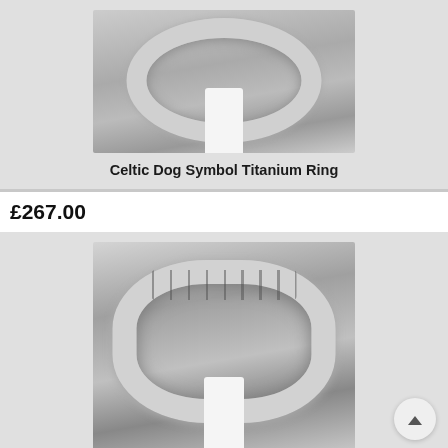[Figure (photo): Close-up photo of a Celtic Dog Symbol Titanium Ring on a white ring holder stand, showing silver metallic band with Celtic dog symbol engraving]
Celtic Dog Symbol Titanium Ring
£267.00
[Figure (photo): Close-up photo of a Celtic Domed Profile Titanium Ring on a white ring holder stand, showing silver metallic domed band with Celtic knotwork pattern]
Celtic Domed Profile Titanium Ring